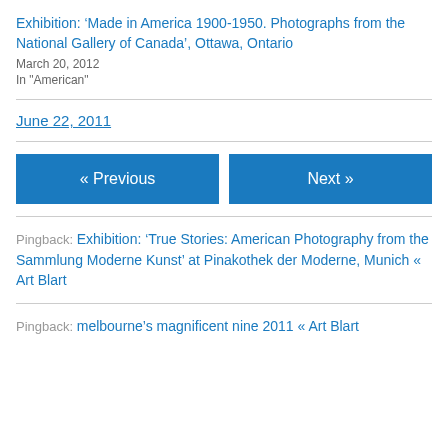Exhibition: ‘Made in America 1900-1950. Photographs from the National Gallery of Canada’, Ottawa, Ontario
March 20, 2012
In "American"
June 22, 2011
« Previous
Next »
Pingback: Exhibition: ‘True Stories: American Photography from the Sammlung Moderne Kunst’ at Pinakothek der Moderne, Munich « Art Blart
Pingback: melbourne’s magnificent nine 2011 « Art Blart